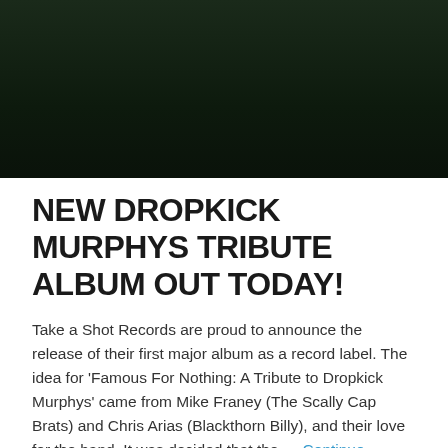[Figure (photo): Dark green textured background image, resembling a dark forest or fabric texture.]
NEW DROPKICK MURPHYS TRIBUTE ALBUM OUT TODAY!
Take a Shot Records are proud to announce the release of their first major album as a record label. The idea for 'Famous For Nothing: A Tribute to Dropkick Murphys' came from Mike Franey (The Scally Cap Brats) and Chris Arias (Blackthorn Billy), and their love for the band. It was decided that the … Continue reading →
February 24, 2015
Leave a Reply